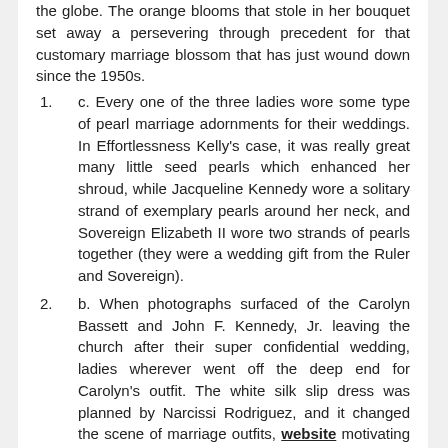the globe. The orange blooms that stole in her bouquet set away a persevering through precedent for that customary marriage blossom that has just wound down since the 1950s.
c. Every one of the three ladies wore some type of pearl marriage adornments for their weddings. In Effortlessness Kelly's case, it was really great many little seed pearls which enhanced her shroud, while Jacqueline Kennedy wore a solitary strand of exemplary pearls around her neck, and Sovereign Elizabeth II wore two strands of pearls together (they were a wedding gift from the Ruler and Sovereign).
b. When photographs surfaced of the Carolyn Bassett and John F. Kennedy, Jr. leaving the church after their super confidential wedding, ladies wherever went off the deep end for Carolyn's outfit. The white silk slip dress was planned by Narcissi Rodriguez, and it changed the scene of marriage outfits, website motivating ladies overall to pick a stylish current style over a conventional wedding